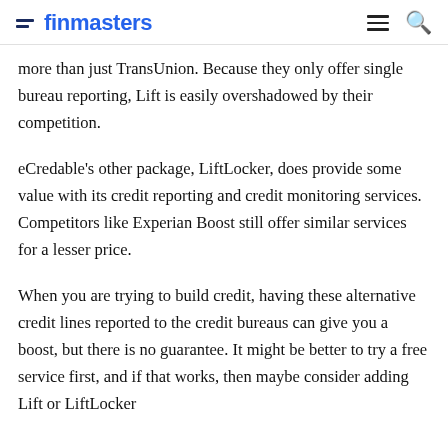finmasters
more than just TransUnion. Because they only offer single bureau reporting, Lift is easily overshadowed by their competition.
eCredable's other package, LiftLocker, does provide some value with its credit reporting and credit monitoring services. Competitors like Experian Boost still offer similar services for a lesser price.
When you are trying to build credit, having these alternative credit lines reported to the credit bureaus can give you a boost, but there is no guarantee. It might be better to try a free service first, and if that works, then maybe consider adding Lift or LiftLocker